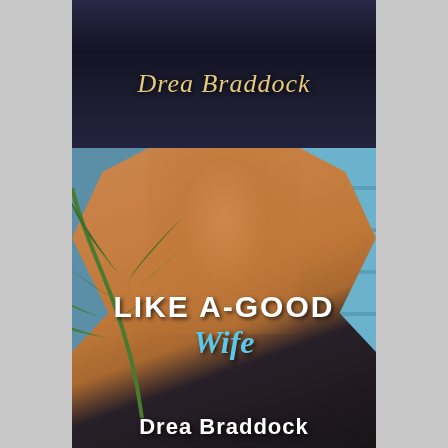[Figure (illustration): Top portion of a romance novel book cover with dark background showing author name 'Drea Braddock' in script/serif font]
[Figure (illustration): Front romance novel book cover showing a shirtless muscular man holding a surfboard against blue wooden planks background with palm leaves. Title reads 'LIKE A-GOOD Wife' and author 'Drea Braddock' at bottom.]